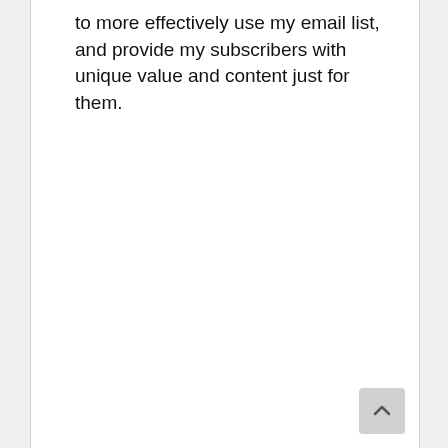to more effectively use my email list, and provide my subscribers with unique value and content just for them.